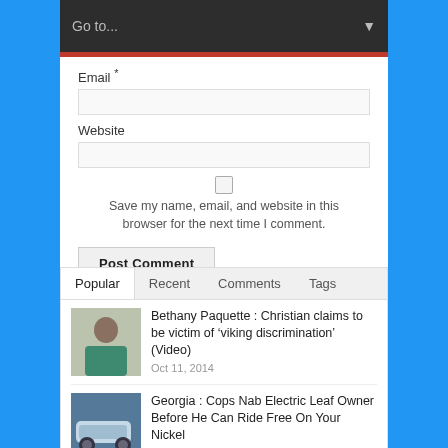Go to...
Email *
Website
Save my name, email, and website in this browser for the next time I comment.
Post Comment
Popular | Recent | Comments | Tags
Bethany Paquette : Christian claims to be victim of ‘viking discrimination’ (Video)
Oct 11, 2014
Georgia : Cops Nab Electric Leaf Owner Before He Can Ride Free On Your Nickel